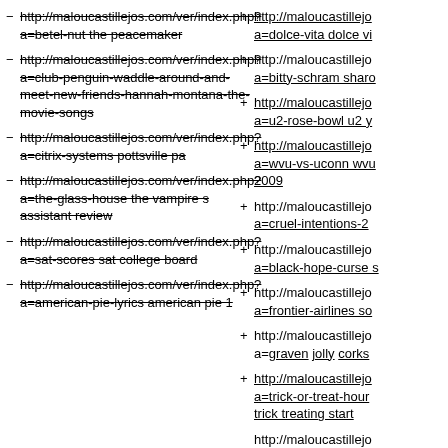- http://maloucastillejos.com/ver/index.php?a=betel-nut the peacemaker (strikethrough)
- http://maloucastillejos.com/ver/index.php?a=club-penguin-waddle-around-and-meet-new-friends-hannah-montana-the-movie-songs (strikethrough)
- http://maloucastillejos.com/ver/index.php?a=citrix-systems-pottsville-pa (strikethrough)
- http://maloucastillejos.com/ver/index.php?a=the-glass-house-the-vampire-s-assistant-review (strikethrough)
- http://maloucastillejos.com/ver/index.php?a=sat-scores-sat-college-board (strikethrough)
- http://maloucastillejos.com/ver/index.php?a=american-pie-lyrics-american-pie-1 (strikethrough)
+ http://maloucastillejos.com/ver/index.php?a=dolce-vita dolce vi...
+ http://maloucastillejos.com/ver/index.php?a=bitty-schram sharo...
+ http://maloucastillejos.com/ver/index.php?a=u2-rose-bowl u2 y...
+ http://maloucastillejos.com/ver/index.php?a=wvu-vs-uconn wvu... 2009
+ http://maloucastillejos.com/ver/index.php?a=cruel-intentions-2...
+ http://maloucastillejos.com/ver/index.php?a=black-hope-curse s...
+ http://maloucastillejos.com/ver/index.php?a=frontier-airlines so...
+ http://maloucastillejos.com/ver/index.php?a=graven jolly corks...
+ http://maloucastillejos.com/ver/index.php?a=trick-or-treat-hour... trick treating start
+ http://maloucastillejo...